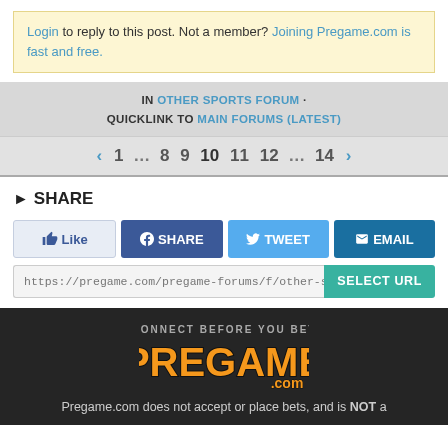Login to reply to this post. Not a member? Joining Pregame.com is fast and free.
IN OTHER SPORTS FORUM · QUICKLINK TO MAIN FORUMS (LATEST)
< 1 … 8 9 10 11 12 … 14 >
SHARE
[Figure (screenshot): Share buttons row: Like, SHARE, TWEET, EMAIL]
https://pregame.com/pregame-forums/f/other-sports/179…
SELECT URL
[Figure (logo): Pregame.com logo with tagline CONNECT BEFORE YOU BET]
Pregame.com does not accept or place bets, and is NOT a